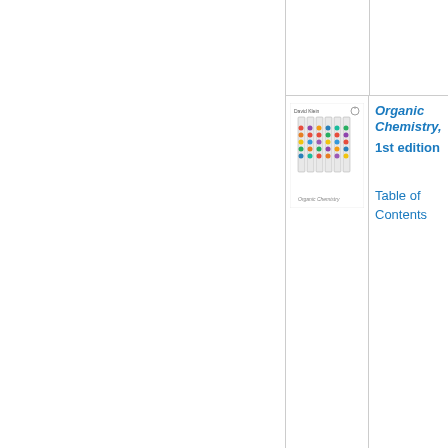[Figure (illustration): Book cover of Organic Chemistry by David Klein, 1st edition — test tubes with colorful molecules]
Organic Chemistry, 1st edition
Table of Contents
[Figure (illustration): Book cover of Modern Physics, 3rd edition by Kenneth Krane — blue cosmic/physics imagery]
Modern Physics, 3rd edition
Table of Contents